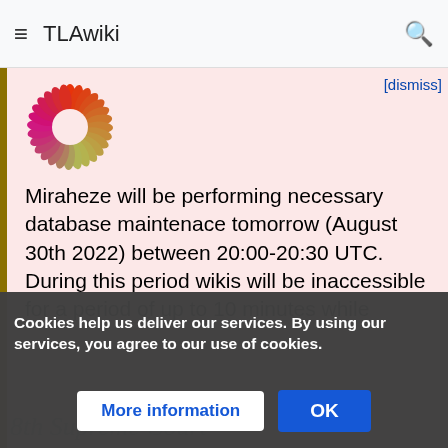≡  TLAwiki  🔍
Miraheze will be performing necessary database maintenace tomorrow (August 30th 2022) between 20:00-20:30 UTC. During this period wikis will be inaccessible for a period of up to 10 minutes while
[dismiss]
Cookies help us deliver our services. By using our services, you agree to our use of cookies.
More information
OK
8th Supreme Court